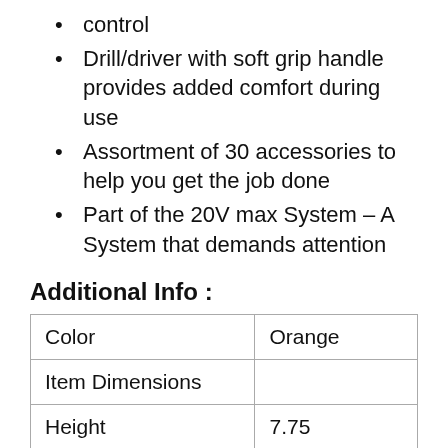control
Drill/driver with soft grip handle provides added comfort during use
Assortment of 30 accessories to help you get the job done
Part of the 20V max System – A System that demands attention
Additional Info :
| Color | Orange |
| Item Dimensions |  |
| Height | 7.75 |
| Width | 4 |
| Length | 8.938 |